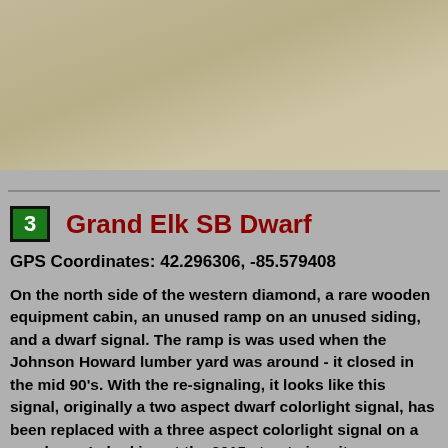[Figure (photo): Outdoor photo showing a concrete or pavement surface, grayish-tan in color, with some cracks visible. Partial view of white objects in the upper right corner.]
3   Grand Elk SB Dwarf
GPS Coordinates: 42.296306, -85.579408
On the north side of the western diamond, a rare wooden equipment cabin, an unused ramp on an unused siding, and a dwarf signal.  The ramp is was used when the Johnson Howard lumber yard was around - it closed in the mid 90's.  With the re-signaling, it looks like this signal, originally a two aspect dwarf colorlight signal, has been replaced with a three aspect colorlight signal on a new base.  In looking at the 2015 street view, it appears that the wooden cabinet is still with us.